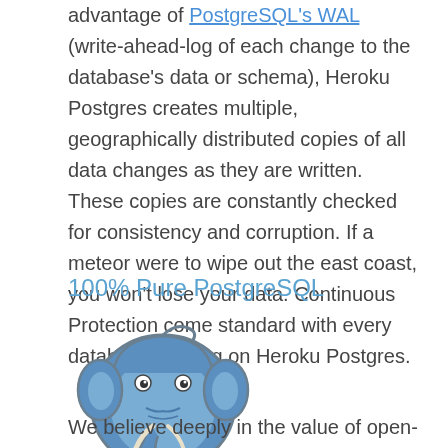advantage of PostgreSQL's WAL (write-ahead-log of each change to the database's data or schema), Heroku Postgres creates multiple, geographically distributed copies of all data changes as they are written. These copies are constantly checked for consistency and corruption. If a meteor were to wipe out the east coast, you won't lose your data. Continuous Protection come standard with every database running on Heroku Postgres.
100% Pure PostgreSQL
[Figure (logo): PostgreSQL elephant logo in blue and grey]
We believe deeply in the value of open-source